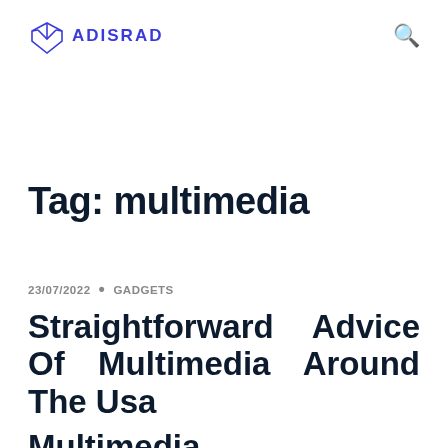VADISRAD
Tag: multimedia
23/07/2022 • GADGETS
Straightforward Advice Of Multimedia Around The Usa
Multimedia